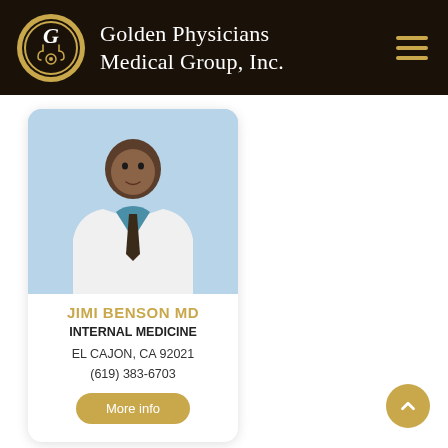Golden Physicians Medical Group, Inc.
[Figure (illustration): Generic male doctor placeholder avatar illustration showing a doctor in white coat with stethoscope, light blue background]
JIMI BENSON MD
INTERNAL MEDICINE
EL CAJON, CA 92021
(619) 383-6703
More info